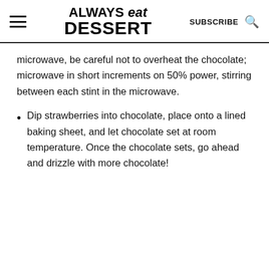ALWAYS eat DESSERT | SUBSCRIBE
microwave, be careful not to overheat the chocolate; microwave in short increments on 50% power, stirring between each stint in the microwave.
Dip strawberries into chocolate, place onto a lined baking sheet, and let chocolate set at room temperature. Once the chocolate sets, go ahead and drizzle with more chocolate!